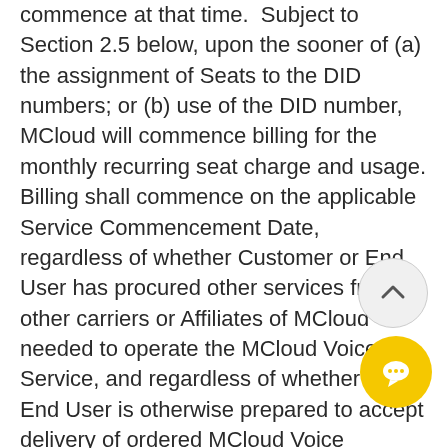commence at that time.  Subject to Section 2.5 below, upon the sooner of (a) the assignment of Seats to the DID numbers; or (b) use of the DID number, MCloud will commence billing for the monthly recurring seat charge and usage. Billing shall commence on the applicable Service Commencement Date, regardless of whether Customer or End User has procured other services from other carriers or Affiliates of MCloud needed to operate the MCloud Voice Service, and regardless of whether the End User is otherwise prepared to accept delivery of ordered MCloud Voice Service.
2.4  Disputed Invoices.  Notwithstanding anything to the contrary in the Agreement, all claims related to disputed invoices must be submitted to MCloud in writing within thirty (30) days from the date of invoice of those Services.  Customer waives the right to dispute any charges not disputed within such thirty (30) day